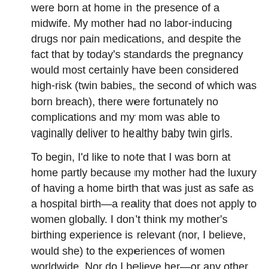were born at home in the presence of a midwife. My mother had no labor-inducing drugs nor pain medications, and despite the fact that by today's standards the pregnancy would most certainly have been considered high-risk (twin babies, the second of which was born breach), there were fortunately no complications and my mom was able to vaginally deliver to healthy baby twin girls.
To begin, I'd like to note that I was born at home partly because my mother had the luxury of having a home birth that was just as safe as a hospital birth—a reality that does not apply to women globally. I don't think my mother's birthing experience is relevant (nor, I believe, would she) to the experiences of women worldwide. Nor do I believe her—or any other woman who has purposefully chosen a non-hospital birth—to be romanticizing the experiences of poor women who do not have access to modern biomedical technology. As we have discussed in class and